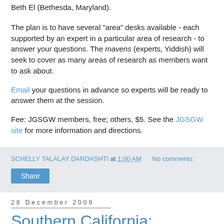Beth El (Bethesda, Maryland).
The plan is to have several "area" desks available - each supported by an expert in a particular area of research - to answer your questions. The mavens (experts, Yiddish) will seek to cover as many areas of research as members want to ask about.
Email your questions in advance so experts will be ready to answer them at the session.
Fee: JGSGW members, free; others, $5. See the JGSGW site for more information and directions.
SCHELLY TALALAY DARDASHTI at 1:00 AM   No comments:
Share
28 December 2009
Southern California: Beginning your research, Jan. 10